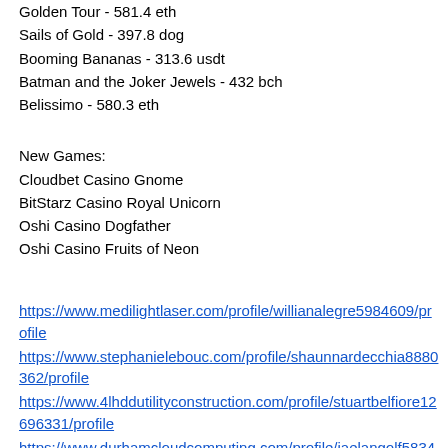Golden Tour - 581.4 eth
Sails of Gold - 397.8 dog
Booming Bananas - 313.6 usdt
Batman and the Joker Jewels - 432 bch
Belissimo - 580.3 eth
New Games:
Cloudbet Casino Gnome
BitStarz Casino Royal Unicorn
Oshi Casino Dogfather
Oshi Casino Fruits of Neon
https://www.medilightlaser.com/profile/willianalegre5984609/profile
https://www.stephanielebouc.com/profile/shaunnardecchia8880362/profile
https://www.4lhddutilityconstruction.com/profile/stuartbelfiore12696331/profile
https://www.durhamcloudcomputing.com/profile/jaelangolf5834697/profile